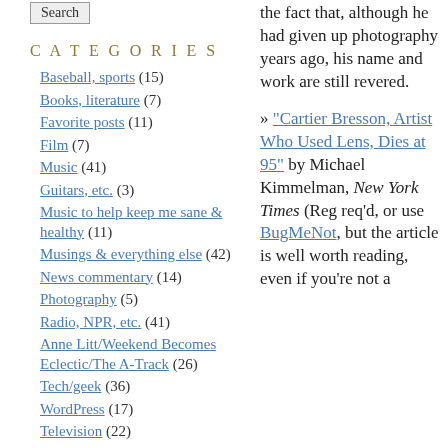[Figure (other): Search button widget]
CATEGORIES
Baseball, sports (15)
Books, literature (7)
Favorite posts (11)
Film (7)
Music (41)
Guitars, etc. (3)
Music to help keep me sane & healthy (11)
Musings & everything else (42)
News commentary (14)
Photography (5)
Radio, NPR, etc. (41)
Anne Litt/Weekend Becomes Eclectic/The A-Track (26)
Tech/geek (36)
WordPress (17)
Television (22)
ARCHIVES
January 2012
March 2011
November 2009
August 2009
the fact that, although he had given up photography years ago, his name and work are still revered.
» "Cartier Bresson, Artist Who Used Lens, Dies at 95" by Michael Kimmelman, New York Times (Reg req'd, or use BugMeNot, but the article is well worth reading, even if you're not a